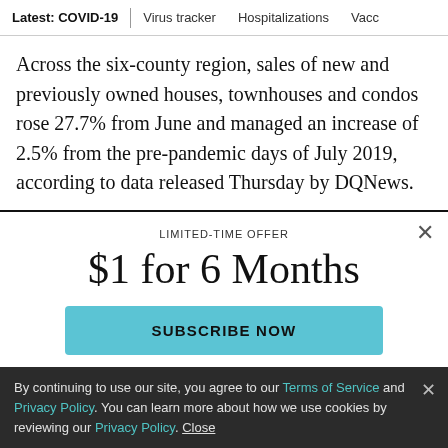Latest: COVID-19 | Virus tracker | Hospitalizations | Vacc
Across the six-county region, sales of new and previously owned houses, townhouses and condos rose 27.7% from June and managed an increase of 2.5% from the pre-pandemic days of July 2019, according to data released Thursday by DQNews.
LIMITED-TIME OFFER
$1 for 6 Months
SUBSCRIBE NOW
By continuing to use our site, you agree to our Terms of Service and Privacy Policy. You can learn more about how we use cookies by reviewing our Privacy Policy. Close